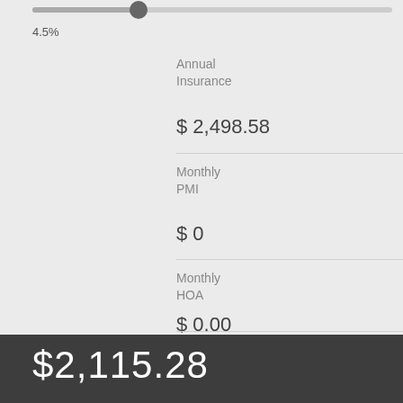4.5%
Annual Insurance
$ 2,498.58
Monthly PMI
$ 0
Monthly HOA
$ 0.00
$2,115.28